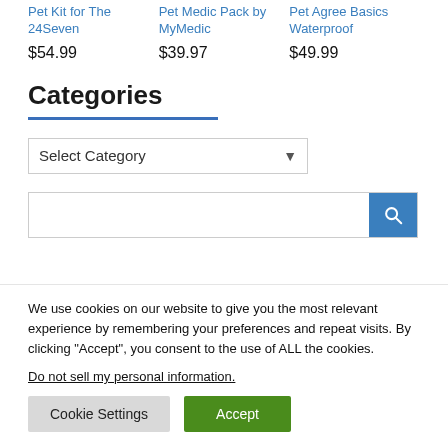Pet Kit for The 24Seven
$54.99
Pet Medic Pack by MyMedic
$39.97
Pet Agree Basics Waterproof
$49.99
Categories
Select Category
[Figure (other): Search bar with blue search button containing magnifying glass icon]
We use cookies on our website to give you the most relevant experience by remembering your preferences and repeat visits. By clicking “Accept”, you consent to the use of ALL the cookies.
Do not sell my personal information.
Cookie Settings
Accept